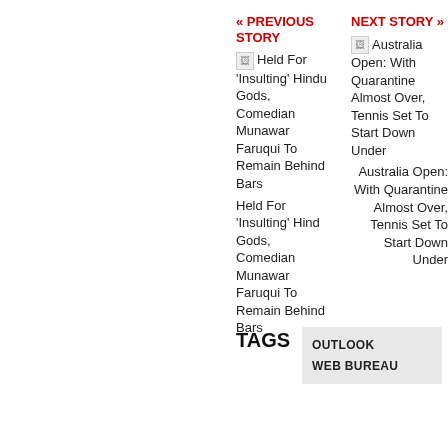« PREVIOUS STORY
Held For 'Insulting' Hindu Gods, Comedian Munawar Faruqui To Remain Behind Bars Held For 'Insulting' Hind Gods, Comedian Munawar Faruqui To Remain Behind Bars
NEXT STORY »
Australia Open: With Quarantine Almost Over, Tennis Set To Start Down Under Australia Open: With Quarantine Almost Over, Tennis Set To Start Down Under
TAGS
OUTLOOK WEB BUREAU